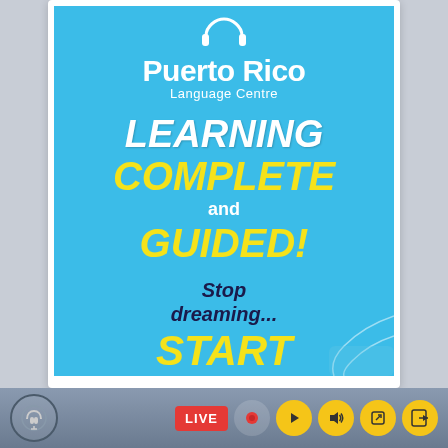[Figure (illustration): Puerto Rico Language Centre advertisement banner on a light blue background. Contains logo with headset icon, brand name 'Puerto Rico Language Centre', text 'LEARNING COMPLETE and GUIDED!', 'Stop dreaming... START DOING!' with decorative geometric lines in the lower right corner.]
[Figure (screenshot): Bottom media toolbar of a live streaming or podcast interface. Contains a microphone/headset icon on the left, and on the right: a red LIVE button, record icon, yellow play button, yellow volume icon, yellow edit icon, and yellow exit/forward icon.]